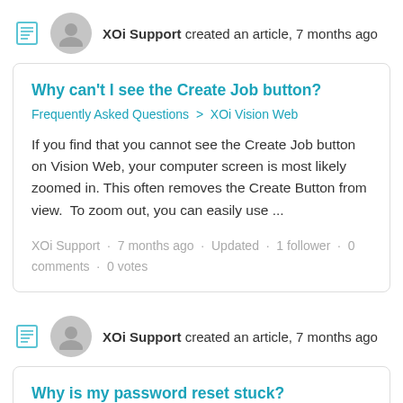XOi Support created an article, 7 months ago
Why can't I see the Create Job button?
Frequently Asked Questions  >  XOi Vision Web
If you find that you cannot see the Create Job button on Vision Web, your computer screen is most likely zoomed in. This often removes the Create Button from view.  To zoom out, you can easily use ...
XOi Support ·  7 months ago ·  Updated  ·  1 follower ·  0 comments ·  0 votes
XOi Support created an article, 7 months ago
Why is my password reset stuck?
Frequently Asked Questions  >  XOi Vision Mobile App